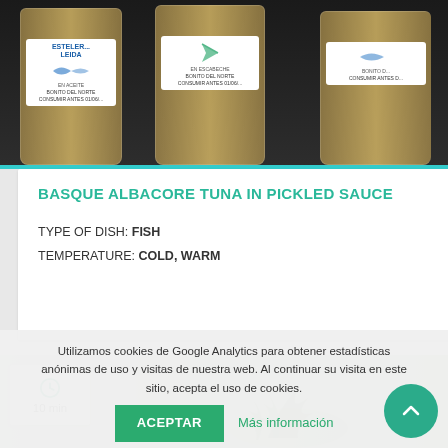[Figure (photo): Photo of three glass jars of canned Basque albacore tuna/bonito products on a dark background. Labels visible with blue text and fish graphics. Products include versions in olive oil and pickled sauce.]
BASQUE ALBACORE TUNA IN PICKLED SAUCE
TYPE OF DISH: FISH
TEMPERATURE: COLD, WARM
[Figure (photo): Bottom partial photo with green herbs/microgreens on light background, with a white badge showing a clock icon and '10 min' text]
Utilizamos cookies de Google Analytics para obtener estadísticas anónimas de uso y visitas de nuestra web. Al continuar su visita en este sitio, acepta el uso de cookies.
ACEPTAR
Más información